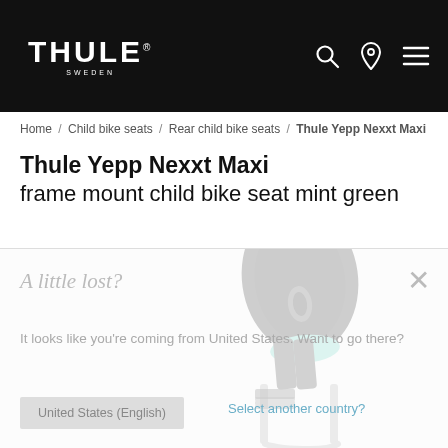THULE SWEDEN — navigation header with search, location, and menu icons
Home / Child bike seats / Rear child bike seats / Thule Yepp Nexxt Maxi
Thule Yepp Nexxt Maxi frame mount child bike seat mint green
[Figure (photo): Thule Yepp Nexxt Maxi child bike seat in mint green/dark color, frame mount, shown from rear angle. A modal/popup overlay is partially visible reading 'A little lost? It looks like you're coming from United States. Want to go there?' with buttons 'United States (English)' and 'Select another country?' and a close X button.]